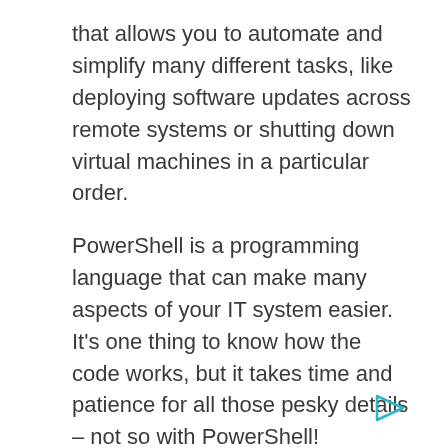that allows you to automate and simplify many different tasks, like deploying software updates across remote systems or shutting down virtual machines in a particular order.
PowerShell is a programming language that can make many aspects of your IT system easier. It's one thing to know how the code works, but it takes time and patience for all those pesky details – not so with PowerShell!